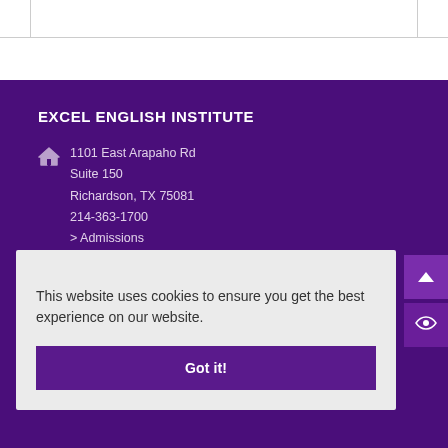EXCEL ENGLISH INSTITUTE
1101 East Arapaho Rd
Suite 150
Richardson, TX 75081
214-363-1700
> Admissions
This website uses cookies to ensure you get the best experience on our website.
Got it!